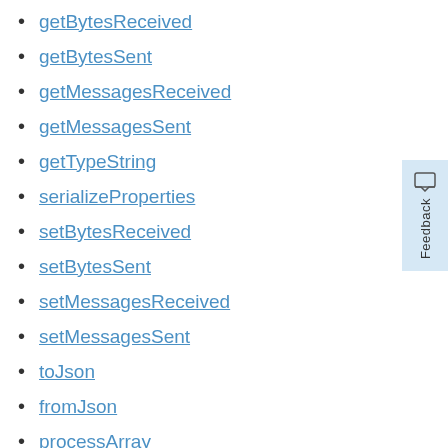getBytesReceived
getBytesSent
getMessagesReceived
getMessagesSent
getTypeString
serializeProperties
setBytesReceived
setBytesSent
setMessagesReceived
setMessagesSent
toJson
fromJson
processArray
processBoolean
processBooleanArray
processDouble
processFloat
processFloatArray